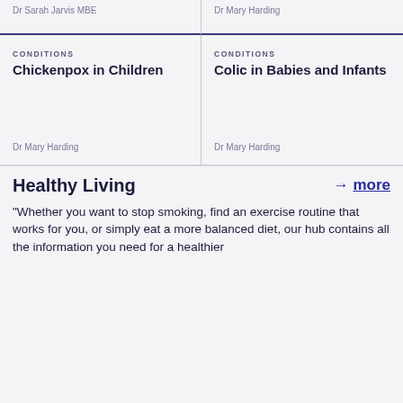Dr Sarah Jarvis MBE
Dr Mary Harding
CONDITIONS
Chickenpox in Children
Dr Mary Harding
CONDITIONS
Colic in Babies and Infants
Dr Mary Harding
Healthy Living
→ more
"Whether you want to stop smoking, find an exercise routine that works for you, or simply eat a more balanced diet, our hub contains all the information you need for a healthier